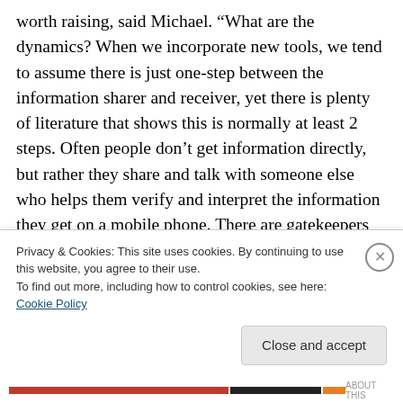worth raising, said Michael. “What are the dynamics? When we incorporate new tools, we tend to assume there is just one-step between the information sharer and receiver, yet there is plenty of literature that shows this is normally at least 2 steps. Often people don’t get information directly, but rather they share and talk with someone else who helps them verify and interpret the information they get on a mobile phone. There are gatekeepers who control or interpret, and evaluators need to better understand those dynamics. Social network analysis can help with that sometimes – looking at who
Privacy & Cookies: This site uses cookies. By continuing to use this website, you agree to their use.
To find out more, including how to control cookies, see here: Cookie Policy
Close and accept